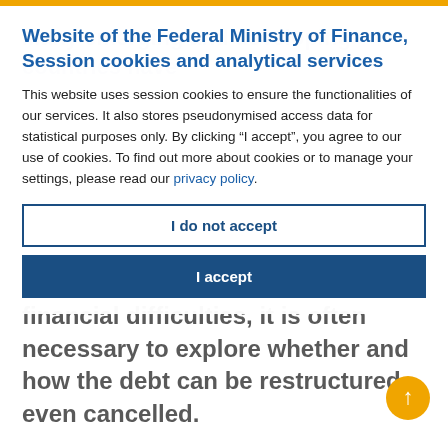Website of the Federal Ministry of Finance, Session cookies and analytical services
This website uses session cookies to ensure the functionalities of our services. It also stores pseudonymised access data for statistical purposes only. By clicking “I accept”, you agree to our use of cookies. To find out more about cookies or to manage your settings, please read our privacy policy.
I do not accept
I accept
as agreed. If countries run into financial difficulties, it is often necessary to explore whether and how the debt can be restructured even cancelled.